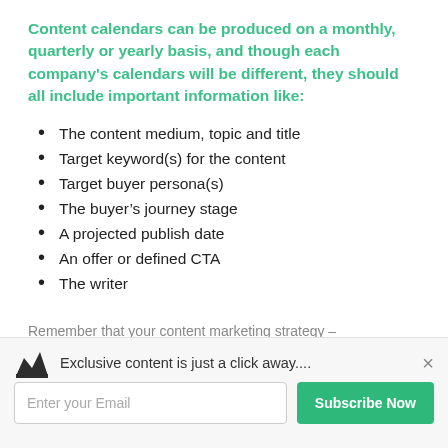Content calendars can be produced on a monthly, quarterly or yearly basis, and though each company's calendars will be different, they should all include important information like:
The content medium, topic and title
Target keyword(s) for the content
Target buyer persona(s)
The buyer's journey stage
A projected publish date
An offer or defined CTA
The writer
Remember that your content marketing strategy –
Exclusive content is just a click away.... Enter your Email Subscribe Now